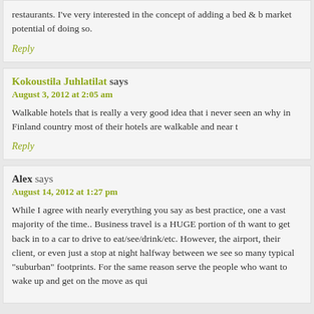restaurants. I've very interested in the concept of adding a bed & b market potential of doing so.
Reply
Kokoustila Juhlatilat says
August 3, 2012 at 2:05 am
Walkable hotels that is really a very good idea that i never seen an why in Finland country most of their hotels are walkable and near t
Reply
Alex says
August 14, 2012 at 1:27 pm
While I agree with nearly everything you say as best practice, one a vast majority of the time.. Business travel is a HUGE portion of th want to get back in to a car to drive to eat/see/drink/etc. However, the airport, their client, or even just a stop at night halfway between we see so many typical "suburban" footprints. For the same reason serve the people who want to wake up and get on the move as qui